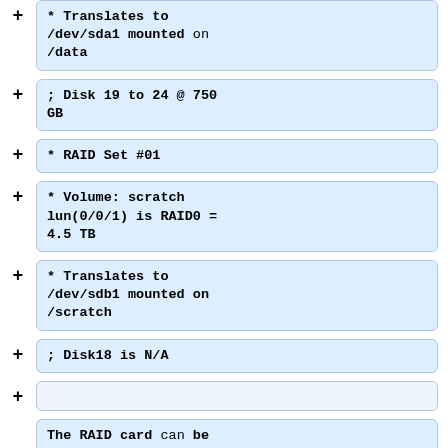* Translates to /dev/sda1 mounted on /data
; Disk 19 to 24 @ 750 GB
* RAID Set #01
* Volume: scratch lun(0/0/1) is RAID0 = 4.5 TB
* Translates to /dev/sdb1 mounted on /scratch
; Disk18 is N/A
The RAID card can be monitored at http://10.0.0.99/